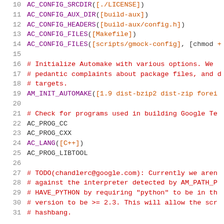Source code listing showing configure.ac lines 10-31 with autoconf/automake macros
10: AC_CONFIG_SRCDIR([./LICENSE])
11: AC_CONFIG_AUX_DIR([build-aux])
12: AC_CONFIG_HEADERS([build-aux/config.h])
13: AC_CONFIG_FILES([Makefile])
14: AC_CONFIG_FILES([scripts/gmock-config], [chmod +
15: (empty)
16: # Initialize Automake with various options. We
17: # pedantic complaints about package files, and d
18: # targets.
19: AM_INIT_AUTOMAKE([1.9 dist-bzip2 dist-zip forei
20: (empty)
21: # Check for programs used in building Google Te
22: AC_PROG_CC
23: AC_PROG_CXX
24: AC_LANG([C++])
25: AC_PROG_LIBTOOL
26: (empty)
27: # TODO(chandlerc@google.com): Currently we aren
28: # against the interpreter detected by AM_PATH_P
29: # HAVE_PYTHON by requiring "python" to be in th
30: # version to be >= 2.3. This will allow the scr
31: # hashbang.